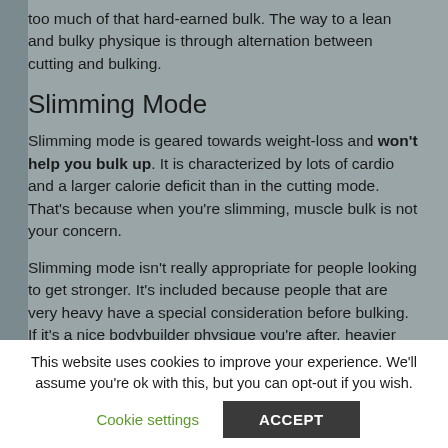too much of that hard-earned bulk. The way to a lean and bulky physique is through alternation between cutting and bulking.
Slimming Mode
Slimming mode is geared towards weight-loss and won't help you bulk up. It is characterized by lots of cardio and a larger calorie deficit than in the cutting mode. That's because when you're slimming, muscle bulk is not your concern.
Slimming mode isn't really appropriate for people looking to get stronger. It's included because people that are very heavy have a special consideration before bulking. If it's a nice bodybuilder physique you're after, heavier people need to slim down as much as possible before starting their bulk mode. That's because they have so much cutting to do that any muscle gains will surely be lost in the
This website uses cookies to improve your experience. We'll assume you're ok with this, but you can opt-out if you wish.